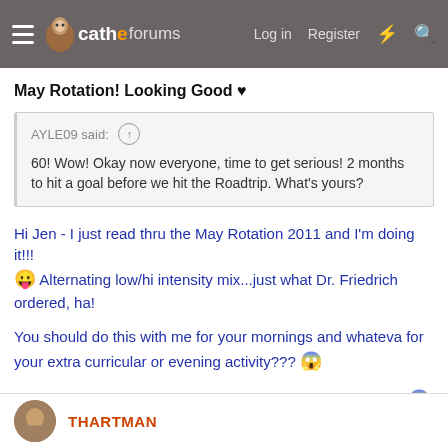cathe forums — Log in  Register
May Rotation! Looking Good ♥
AYLE09 said: ↑ 60! Wow! Okay now everyone, time to get serious! 2 months to hit a goal before we hit the Roadtrip. What's yours?
Hi Jen - I just read thru the May Rotation 2011 and I'm doing it!!! 😛 Alternating low/hi intensity mix...just what Dr. Friedrich ordered, ha!
You should do this with me for your mornings and whateva for your extra curricular or evening activity??? 😱
Of course you can always substitute/add/modify to suit you! 😱
THARTMAN